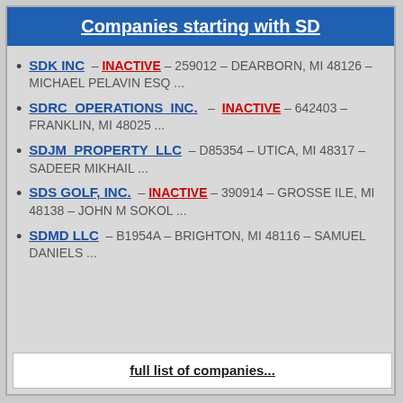Companies starting with SD
SDK INC – INACTIVE – 259012 – DEARBORN, MI 48126 – MICHAEL PELAVIN ESQ ...
SDRC OPERATIONS INC. – INACTIVE – 642403 – FRANKLIN, MI 48025 ...
SDJM PROPERTY LLC – D85354 – UTICA, MI 48317 – SADEER MIKHAIL ...
SDS GOLF, INC. – INACTIVE – 390914 – GROSSE ILE, MI 48138 – JOHN M SOKOL ...
SDMD LLC – B1954A – BRIGHTON, MI 48116 – SAMUEL DANIELS ...
full list of companies...